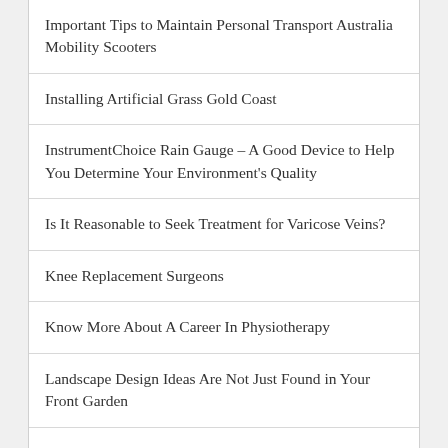Important Tips to Maintain Personal Transport Australia Mobility Scooters
Installing Artificial Grass Gold Coast
InstrumentChoice Rain Gauge – A Good Device to Help You Determine Your Environment's Quality
Is It Reasonable to Seek Treatment for Varicose Veins?
Knee Replacement Surgeons
Know More About A Career In Physiotherapy
Landscape Design Ideas Are Not Just Found in Your Front Garden
Make Your Function Special With Backdrops